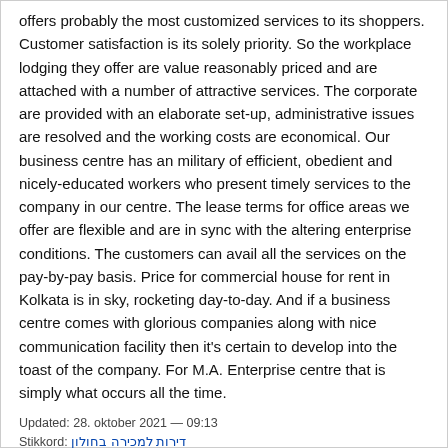offers probably the most customized services to its shoppers. Customer satisfaction is its solely priority. So the workplace lodging they offer are value reasonably priced and are attached with a number of attractive services. The corporate are provided with an elaborate set-up, administrative issues are resolved and the working costs are economical. Our business centre has an military of efficient, obedient and nicely-educated workers who present timely services to the company in our centre. The lease terms for office areas we offer are flexible and are in sync with the altering enterprise conditions. The customers can avail all the services on the pay-by-pay basis. Price for commercial house for rent in Kolkata is in sky, rocketing day-to-day. And if a business centre comes with glorious companies along with nice communication facility then it's certain to develop into the toast of the company. For M.A. Enterprise centre that is simply what occurs all the time.
Updated: 28. oktober 2021 — 09:13
Stikkord: דירות למכירה בחולון